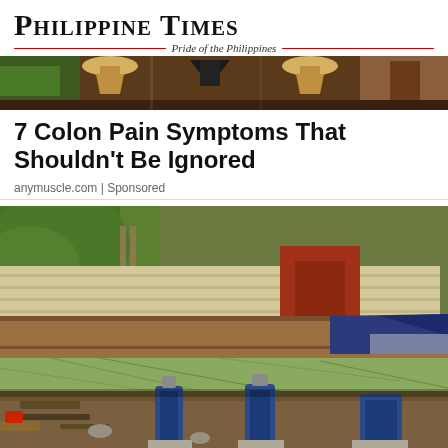Philippine Times — Pride of the Philippines
[Figure (photo): Decorative banner photo strip showing construction/tools scene]
7 Colon Pain Symptoms That Shouldn't Be Ignored
anymuscle.com | Sponsored
[Figure (photo): Photo of a house foundation being lifted with hydraulic jacks. Several blue hydraulic bottle jacks support a wooden beam under old clapboard siding. Construction debris and dirt visible around the base.]